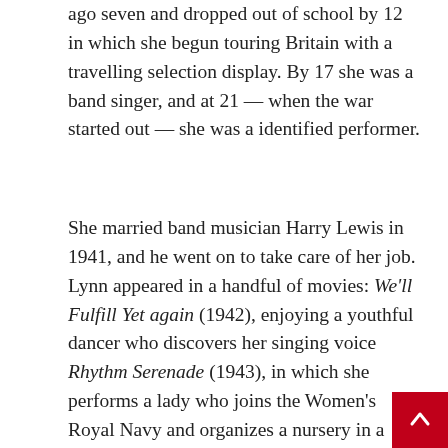ago seven and dropped out of school by 12 in which she begun touring Britain with a travelling selection display. By 17 she was a band singer, and at 21 — when the war started out — she was a identified performer.
She married band musician Harry Lewis in 1941, and he went on to take care of her job. Lynn appeared in a handful of movies: We'll Fulfill Yet again (1942), enjoying a youthful dancer who discovers her singing voice Rhythm Serenade (1943), in which she performs a lady who joins the Women's Royal Navy and organizes a nursery in a munitions manufacturing unit and Just one Fascinating Night (1944), a comedy about a singer who is mistakenly caught up in a kidnapping.
[Figure (screenshot): Partial Twitter/X embed showing CBC Morning Live account (@CBCMorningLive) with Follow button. Partial tweet text reads 'Dame Vera Lynn is being remembered' cut off at bottom.]